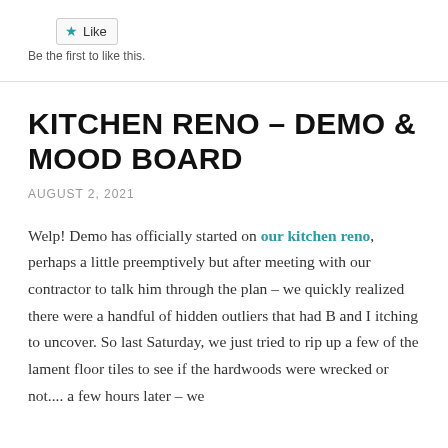[Figure (other): Like button widget with star icon]
Be the first to like this.
KITCHEN RENO – DEMO & MOOD BOARD
AUGUST 2, 2021
Welp! Demo has officially started on our kitchen reno, perhaps a little preemptively but after meeting with our contractor to talk him through the plan – we quickly realized there were a handful of hidden outliers that had B and I itching to uncover. So last Saturday, we just tried to rip up a few of the lament floor tiles to see if the hardwoods were wrecked or not.... a few hours later – we